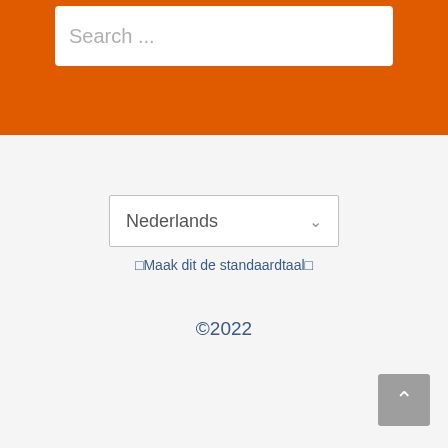Search ...
Nederlands ▾
⬜Maak dit de standaardtaal⬜
©2022